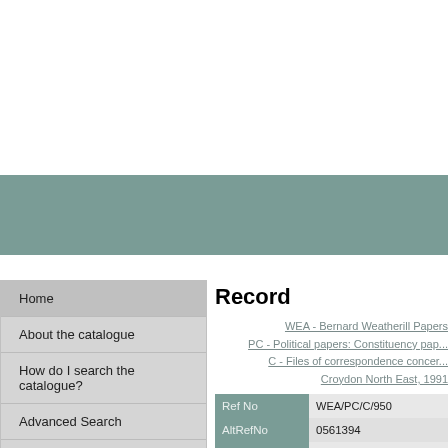Record
WEA - Bernard Weatherill Papers
PC - Political papers: Constituency papers
C - Files of correspondence concerning Croydon North East, 1991
| Field | Value |
| --- | --- |
| Ref No | WEA/PC/C/950 |
| AltRefNo | 0561394 |
| Collection | Bernard Weatherill Papers |
| Title | Correspondence file fo... |
| Name of creator | Sime, Peggy, (fl 1991) |
| Date | October 1991 |
| Extent | 1 file |
| Description | Concerns her donation... |
Home
About the catalogue
How do I search the catalogue?
Advanced Search
Glossary
FAQs
Contact us
Useful links